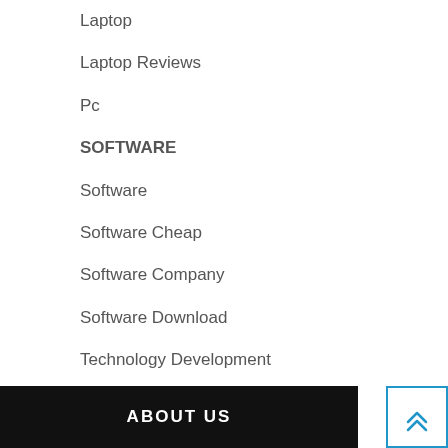Laptop
Laptop Reviews
Pc
SOFTWARE
Software
Software Cheap
Software Company
Software Download
Technology Development
ABOUT US